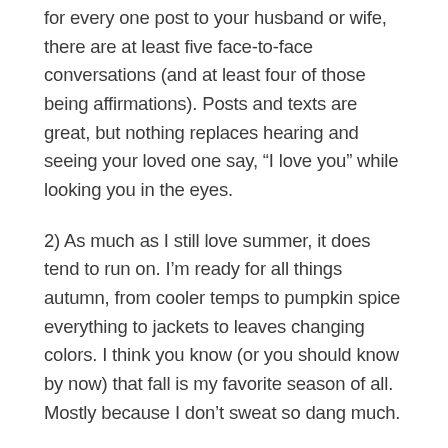for every one post to your husband or wife, there are at least five face-to-face conversations (and at least four of those being affirmations). Posts and texts are great, but nothing replaces hearing and seeing your loved one say, “I love you” while looking you in the eyes.
2) As much as I still love summer, it does tend to run on. I’m ready for all things autumn, from cooler temps to pumpkin spice everything to jackets to leaves changing colors. I think you know (or you should know by now) that fall is my favorite season of all. Mostly because I don’t sweat so dang much.
3) As much as you will need forgiveness from others and as much as you will need to forgive others, the most important person you need to learn to forgive is you.